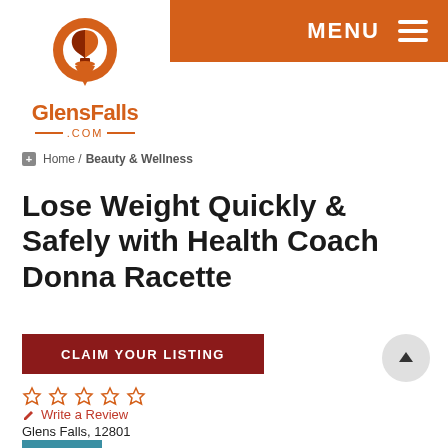[Figure (logo): GlensFalls.com logo with hot air balloon icon and orange text]
MENU ≡
Home / Beauty & Wellness
Lose Weight Quickly & Safely with Health Coach Donna Racette
CLAIM YOUR LISTING
☆ ☆ ☆ ☆ ☆
✏ Write a Review
Glens Falls, 12801
Call